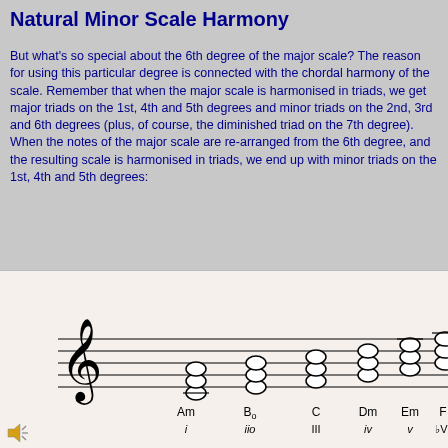Natural Minor Scale Harmony
But what's so special about the 6th degree of the major scale? The reason for using this particular degree is connected with the chordal harmony of the scale. Remember that when the major scale is harmonised in triads, we get major triads on the 1st, 4th and 5th degrees and minor triads on the 2nd, 3rd and 6th degrees (plus, of course, the diminished triad on the 7th degree). When the notes of the major scale are re-arranged from the 6th degree, and the resulting scale is harmonised in triads, we end up with minor triads on the 1st, 4th and 5th degrees:
[Figure (illustration): Musical staff showing harmonised natural minor scale chords: Am (i), B diminished (iio), C (III), Dm (iv), Em (v), F (bVI), with treble clef and whole note triads on a five-line staff]